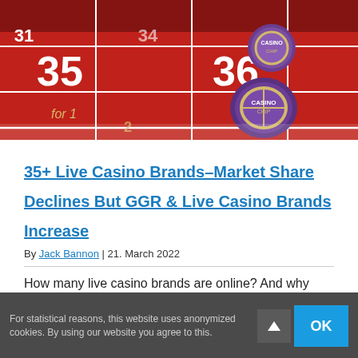[Figure (photo): A roulette table with red felt showing numbers 35 and 36, with casino chips (purple/gold) placed on the table]
35+ Live Casino Brands–Market Share Declines But GGR & Live Casino Brands Increase
By Jack Bannon | 21. March 2022
How many live casino brands are online? And why
For statistical reasons, this website uses anonymized cookies. By using our website you agree to this.